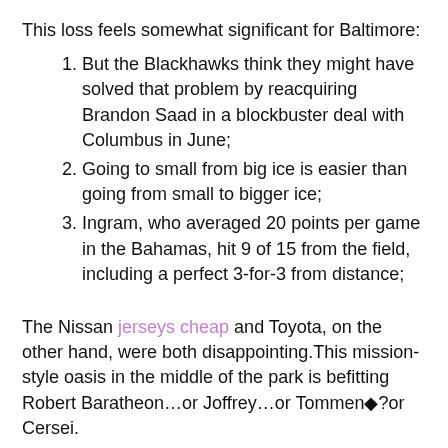This loss feels somewhat significant for Baltimore:
But the Blackhawks think they might have solved that problem by reacquiring Brandon Saad in a blockbuster deal with Columbus in June;
Going to small from big ice is easier than going from small to bigger ice;
Ingram, who averaged 20 points per game in the Bahamas, hit 9 of 15 from the field, including a perfect 3-for-3 from distance;
The Nissan jerseys cheap and Toyota, on the other hand, were both disappointing.This mission-style oasis in the middle of the park is befitting Robert Baratheon…or Joffrey…or Tommen◆?or Cersei.
So, it's nice to get the chance to go prove that.Between 2004 and 2009, he claimed £66 in mortgage interest payments.KC: Returned the ball 50 yards on the opening kickoff, the longest